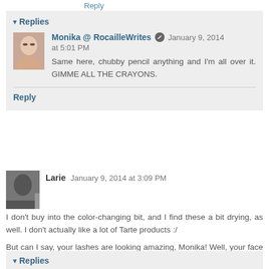Reply
Replies
Monika @ RocailleWrites  January 9, 2014 at 5:01 PM
Same here, chubby pencil anything and I'm all over it. GIMME ALL THE CRAYONS.
Reply
Larie  January 9, 2014 at 3:09 PM
I don't buy into the color-changing bit, and I find these a bit drying, as well. I don't actually like a lot of Tarte products :/
But can I say, your lashes are looking amazing, Monika! Well, your face is always amazing. But lashes like whoa!
Reply
Replies